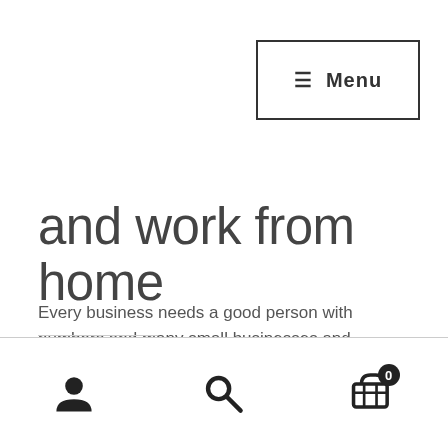≡ Menu
and work from home
Every business needs a good person with numbers and many small businesses and startups are focused on what they do best – and it's rarely accounting. Learn about the bookkeeping business startup options..
ref:#713
[user icon] [search icon] [cart icon with 0]